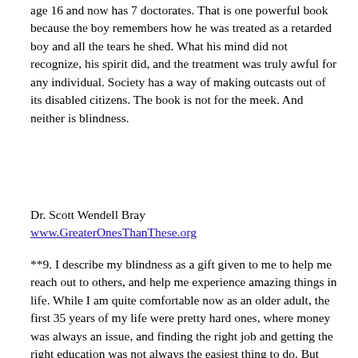age 16 and now has 7 doctorates. That is one powerful book because the boy remembers how he was treated as a retarded boy and all the tears he shed. What his mind did not recognize, his spirit did, and the treatment was truly awful for any individual. Society has a way of making outcasts out of its disabled citizens. The book is not for the meek. And neither is blindness.
Dr. Scott Wendell Bray
www.GreaterOnesThanThese.org
**9. I describe my blindness as a gift given to me to help me reach out to others, and help me experience amazing things in life. While I am quite comfortable now as an older adult, the first 35 years of my life were pretty hard ones, where money was always an issue, and finding the right job and getting the right education was not always the easiest thing to do. But even through the tough times, I can't remember ever feeling put upon or unusually sad because of blindness. I can remember feeling and still feel at times, frustration at how unnecessarily difficult society can make my blindness, but in the main, for me blindness